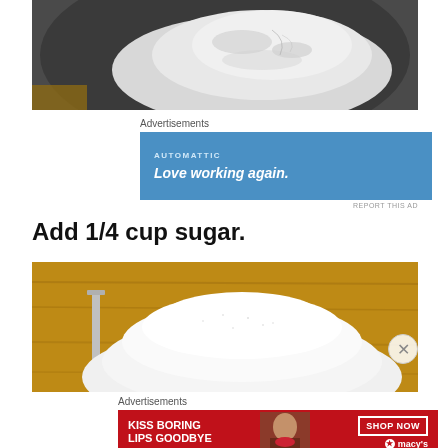[Figure (photo): Close-up photo of white flour in a dark mixing bowl, viewed from above]
[Figure (other): Advertisement: Automattic - Love working again. Blue background with white text.]
Add 1/4 cup sugar.
[Figure (photo): Close-up photo of white granulated sugar in a measuring cup on a wooden surface]
[Figure (other): Advertisement: KISS BORING LIPS GOODBYE - SHOP NOW - Macy's. Red background with photo of woman.]